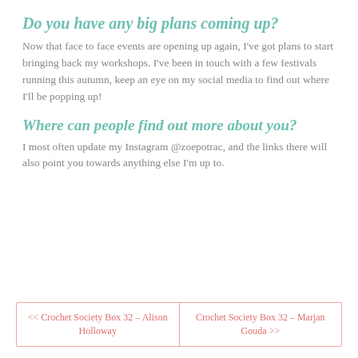Do you have any big plans coming up?
Now that face to face events are opening up again, I've got plans to start bringing back my workshops. I've been in touch with a few festivals running this autumn, keep an eye on my social media to find out where I'll be popping up!
Where can people find out more about you?
I most often update my Instagram @zoepotrac, and the links there will also point you towards anything else I'm up to.
<< Crochet Society Box 32 – Alison Holloway | Crochet Society Box 32 – Marjan Gouda >>